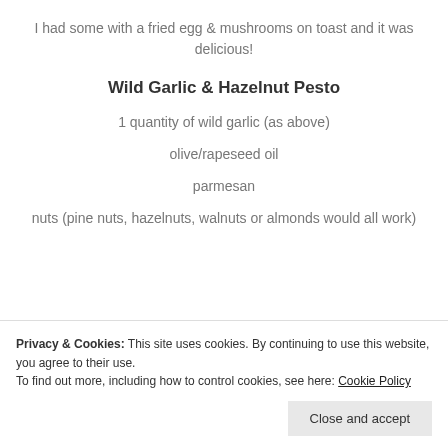I had some with a fried egg & mushrooms on toast and it was delicious!
Wild Garlic & Hazelnut Pesto
1 quantity of wild garlic (as above)
olive/rapeseed oil
parmesan
nuts (pine nuts, hazelnuts, walnuts or almonds would all work)
Privacy & Cookies: This site uses cookies. By continuing to use this website, you agree to their use.
To find out more, including how to control cookies, see here: Cookie Policy